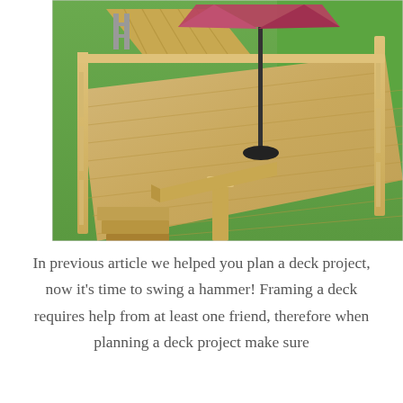[Figure (photo): Photograph of a large multi-level wooden deck with light pine railings, built-in bench seating, steps leading down, an umbrella stand in the center, and a green lawn visible in the background.]
In previous article we helped you plan a deck project, now it's time to swing a hammer! Framing a deck requires help from at least one friend, therefore when planning a deck project make sure you can recruit a few friends...